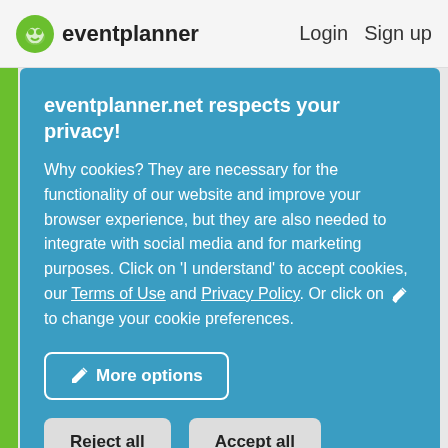eventplanner  Login  Sign up
eventplanner.net respects your privacy!
Why cookies? They are necessary for the functionality of our website and improve your browser experience, but they are also needed to integrate with social media and for marketing purposes. Click on 'I understand' to accept cookies, our Terms of Use and Privacy Policy. Or click on ✏ to change your cookie preferences.
More options
Reject all
Accept all
Velddriel for you. Now it's up to you to choose and book the most beautiful venue!